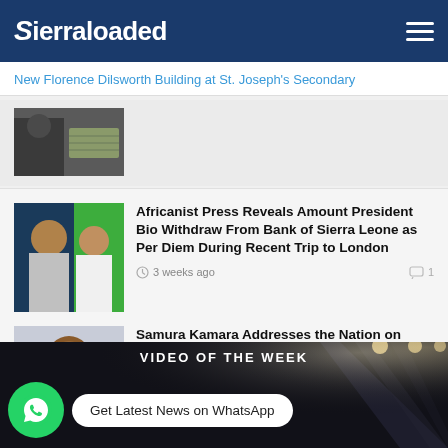Sierraloaded
New Florence Dilsworth Building at St. Joseph's Secondary
[Figure (photo): Partial thumbnail of article about Florence Dilsworth Building, showing a person holding banknotes]
Africanist Press Reveals Amount President Bio Withdraw From Bank of Sierra Leone as Per Diem During Recent Trip to London
3 weeks ago
[Figure (photo): Two men in formal attire standing near a green background, one in a suit and another in white clothing]
Samura Kamara Addresses the Nation on August 10 Violent Protest
3 weeks ago
[Figure (photo): Portrait of Samura Kamara in a dark suit with a flag pin, smiling]
VIDEO OF THE WEEK
Get Latest News on WhatsApp